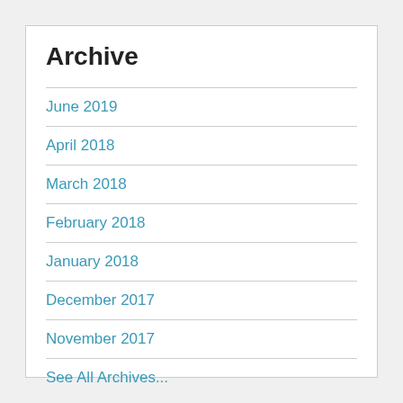Archive
June 2019
April 2018
March 2018
February 2018
January 2018
December 2017
November 2017
See All Archives...